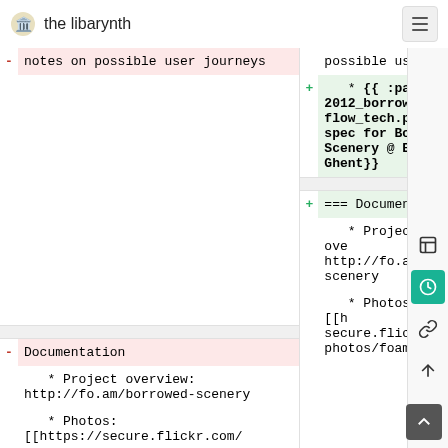the libarynth
- notes on possible user journeys
possible user j
+ * {{ :parn: 2012_borrowed_s flow_tech.pdf | spec for Borrow Scenery @ Elect Ghent}}
- Documentation
   * Project overview: http://fo.am/borrowed-scenery
   * Photos: [[https://secure.flickr.com/
+ === Documentati
   * Project ove http://fo.am/bo scenery
   * Photos: [[h secure.flickr.c photos/foam/co